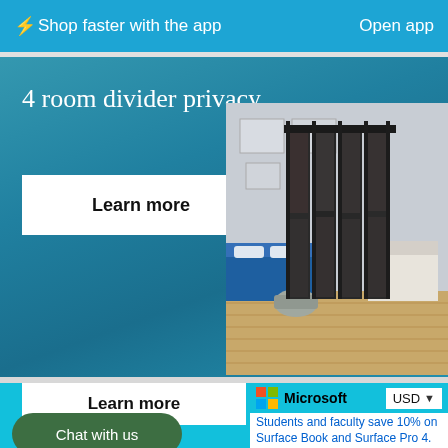⚡ Shop faster with the app   Open app
4 room divider privacy
Learn more
[Figure (photo): Black 4-panel room divider in a bedroom setting with grey walls, blue bedding, and wooden floor]
Learn more
Chat with us
Microsoft   USD   Students and faculty save 10% on Surface Book and Surface Pro 4.